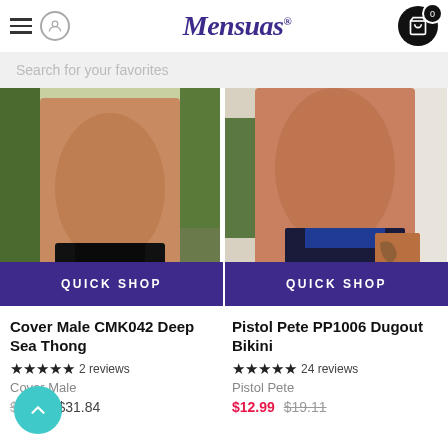Mensuas
Search for your favorites
[Figure (photo): Male model wearing black Cover Male CMK042 Deep Sea Thong, outdoors with green plants in background]
[Figure (photo): Male model wearing blue/black Pistol Pete PP1006 Dugout Bikini, seated on brown wicker furniture with teal cushion]
Cover Male CMK042 Deep Sea Thong
★★★★★ 2 reviews
Cover Male
$22.30-$31.84
Pistol Pete PP1006 Dugout Bikini
★★★★★ 24 reviews
Pistol Pete
$12.99  $19.11